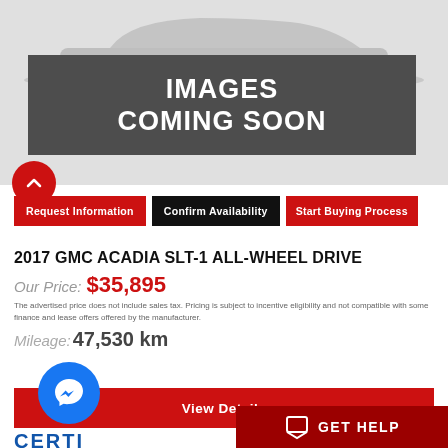[Figure (photo): Car listing page screenshot showing a GMC Acadia silhouette in a light grey placeholder area with an 'IMAGES COMING SOON' dark grey overlay banner]
IMAGES COMING SOON
Request Information | Confirm Availability | Start Buying Process
2017 GMC ACADIA SLT-1 ALL-WHEEL DRIVE
Our Price: $35,895
The advertised price does not include sales tax. Pricing is subject to incentive eligibility and not compatible with some finance and lease offers offered by the manufacturer.
Mileage: 47,530 km
View Details
GET HELP